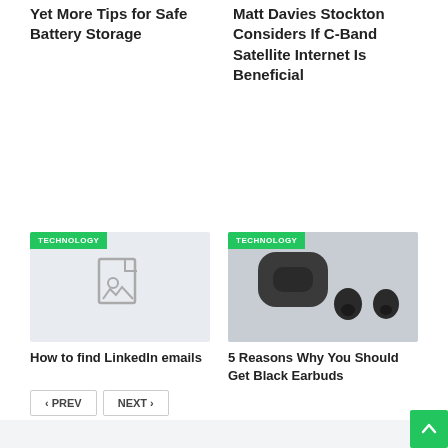Yet More Tips for Safe Battery Storage
Matt Davies Stockton Considers If C-Band Satellite Internet Is Beneficial
[Figure (photo): Placeholder image icon with category badge TECHNOLOGY]
[Figure (photo): Photo of black earbuds with charging case and category badge TECHNOLOGY]
How to find LinkedIn emails
5 Reasons Why You Should Get Black Earbuds
< PREV
NEXT >